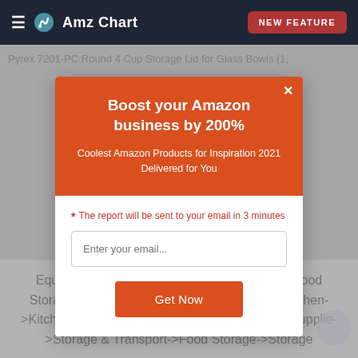≡  Amz Chart  NEW FEATURE
Pyrex 7201-PC Round 4 Cup Storage Lid for Glass Bowls (1,
Boost your Amazon business by 200%
Coolest Amazon Products for Inspiration 2021 Delivered for You
* The report will be sent to your email in 3 minutes
Enter your email...
Get Now
Equipment & Supplie->Storage & Transport->Food Storage->Storage Container Lids;->Home & Kitchen->Kitchen & Dining->Food Service Equipment & Supplie->Storage & Transport->Food Storage->Storage